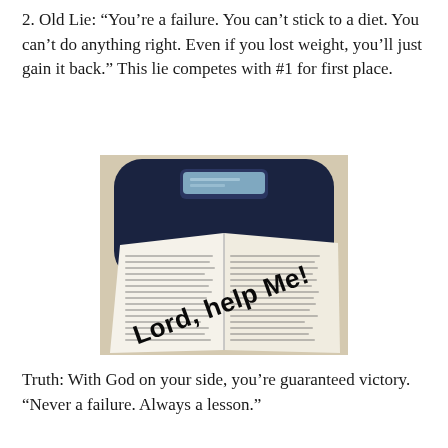2. Old Lie: “You’re a failure. You can’t stick to a diet. You can’t do anything right. Even if you lost weight, you’ll just gain it back.” This lie competes with #1 for first place.
[Figure (photo): A bathroom scale with a digital display, and an open Bible placed on top of it with bold text overlaid reading 'Lord, help Me!']
Truth: With God on your side, you’re guaranteed victory. “Never a failure. Always a lesson.”